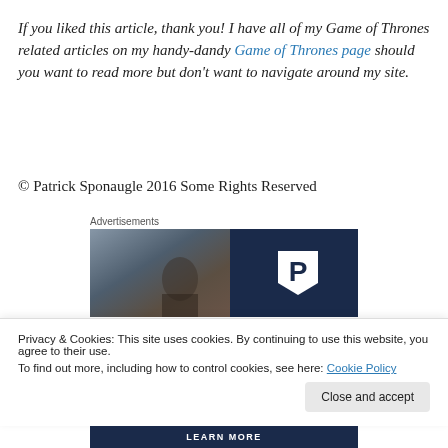If you liked this article, thank you! I have all of my Game of Thrones related articles on my handy-dandy Game of Thrones page should you want to read more but don't want to navigate around my site.
© Patrick Sponaugle 2016 Some Rights Reserved
Advertisements
[Figure (photo): Advertisement banner with a blurred street scene image on the left and a dark navy blue panel on the right featuring a white pentagon-shaped logo with the letter P.]
Privacy & Cookies: This site uses cookies. By continuing to use this website, you agree to their use.
To find out more, including how to control cookies, see here: Cookie Policy
Close and accept